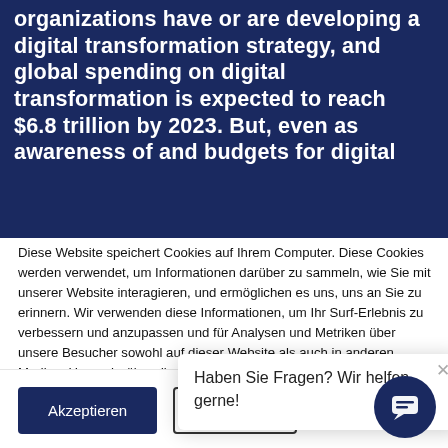organizations have or are developing a digital transformation strategy, and global spending on digital transformation is expected to reach $6.8 trillion by 2023. But, even as awareness of and budgets for digital
Diese Website speichert Cookies auf Ihrem Computer. Diese Cookies werden verwendet, um Informationen darüber zu sammeln, wie Sie mit unserer Website interagieren, und ermöglichen es uns, uns an Sie zu erinnern. Wir verwenden diese Informationen, um Ihr Surf-Erlebnis zu verbessern und anzupassen und für Analysen und Metriken über unsere Besucher sowohl auf dieser Website als auch in anderen Medien. Um mehr über die von uns verwendeten Cookies zu erfahren, lesen Sie unsere Datenschutz...
Wenn Sie sich weigern... nicht verfolgt, wenn... Ein einziges Cookie... verwendet, um Ihre... werden, zu speichern.
Haben Sie Fragen? Wir helfen gerne!